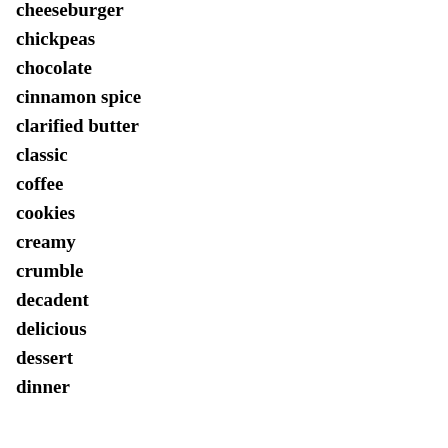cheeseburger
chickpeas
chocolate
cinnamon spice
clarified butter
classic
coffee
cookies
creamy
crumble
decadent
delicious
dessert
dinner